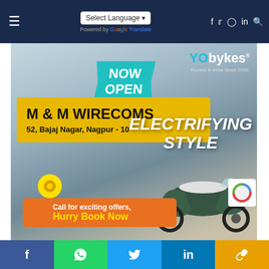☰  Select Language ▾  Powered by Google Translate  f  ✓  ◎  in  🔍
[Figure (photo): YO Bykes dealership advertisement. NOW OPEN banner in teal/cyan. Yellow sign board reading M & M WIRECOMS, 52, Bajaj Nagar, Nagpur - 10. Text ELECTRIFYING STYLE in italic white. Orange call-to-action banner: Call for exciting offers, Hurry Book Now. Electric scooter on the right side. YO bykes logo top right.]
f  WhatsApp  Twitter(bird)  in  🔗